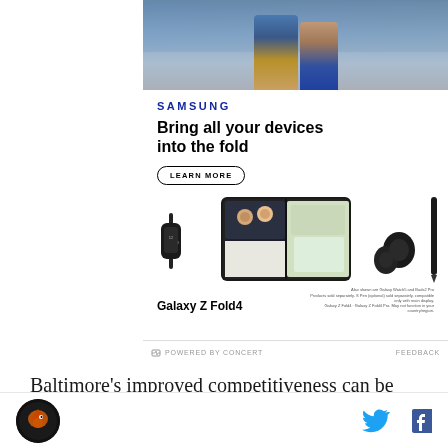[Figure (photo): Samsung Galaxy Z Fold4 advertisement showing two people in a shopping area, Samsung logo, headline 'Bring all your devices into the fold', Learn More button, and product images of Galaxy Z Fold4 phone, watch, and earbuds]
POWERED BY CONCERT   FEEDBACK
Baltimore's improved competitiveness can be
[Figure (logo): Circular sports team logo in dark colors]
[Figure (other): Twitter bird icon and Facebook f icon for social sharing]